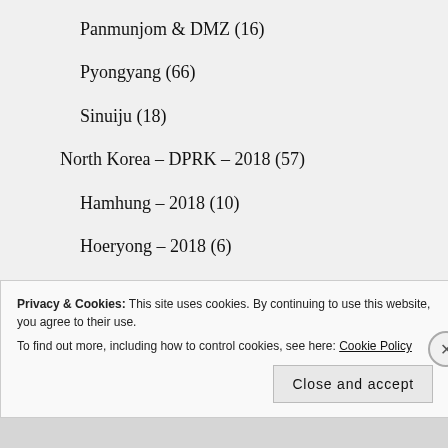Panmunjom & DMZ (16)
Pyongyang (66)
Sinuiju (18)
North Korea – DPRK – 2018 (57)
Hamhung – 2018 (10)
Hoeryong – 2018 (6)
Kyongsong – 2018 (2)
Mt Kumgang -2018 (5)
Nampo – 2018 (1)
Privacy & Cookies: This site uses cookies. By continuing to use this website, you agree to their use. To find out more, including how to control cookies, see here: Cookie Policy
Close and accept